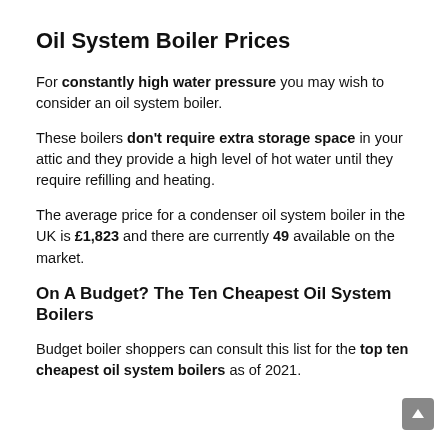Oil System Boiler Prices
For constantly high water pressure you may wish to consider an oil system boiler.
These boilers don't require extra storage space in your attic and they provide a high level of hot water until they require refilling and heating.
The average price for a condenser oil system boiler in the UK is £1,823 and there are currently 49 available on the market.
On A Budget? The Ten Cheapest Oil System Boilers
Budget boiler shoppers can consult this list for the top ten cheapest oil system boilers as of 2021.